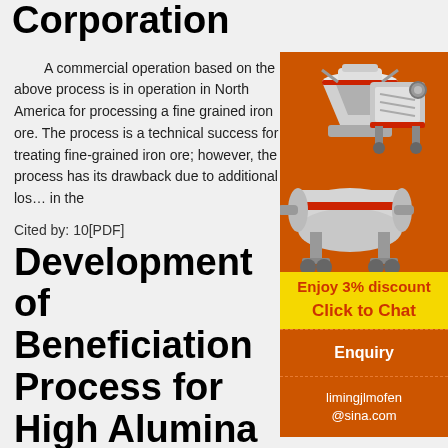Corporation
A commercial operation based on the above process is in operation in North America for processing a fine grained iron ore. The process is a technical success for treating fine-grained iron ore; however, the process has its drawback due to additional los… in the
Cited by: 10[PDF]
Development of Beneficiation Process for High Alumina
[Figure (illustration): Orange advertisement panel with industrial mining machinery (cone crusher, jaw crusher, ball mill) illustration, discount offer text 'Enjoy 3% discount', 'Click to Chat' button, 'Enquiry' section, and email limingjlmofen@sina.com]
2012-12-18   Development of Beneficiation Process for High Alumina Iron Ores of Bellary - Hospet Region Srinivas Dwarapudi, T. Uma Devi, M.G.